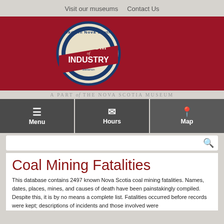Visit our museums   Contact Us
[Figure (logo): Museum of Industry logo on dark red banner background. Circular badge with 'Made in Nova Scotia' text around the top, 'MUSEUM of INDUSTRY' in large text, 'Stellarton' at bottom. Blue and cream circle with red banner stripe across the middle.]
A PART of THE NOVA SCOTIA MUSEUM
Menu   Hours   Map
Coal Mining Fatalities
This database contains 2497 known Nova Scotia coal mining fatalities. Names, dates, places, mines, and causes of death have been painstakingly compiled. Despite this, it is by no means a complete list. Fatalities occurred before records were kept; descriptions of incidents and those involved were